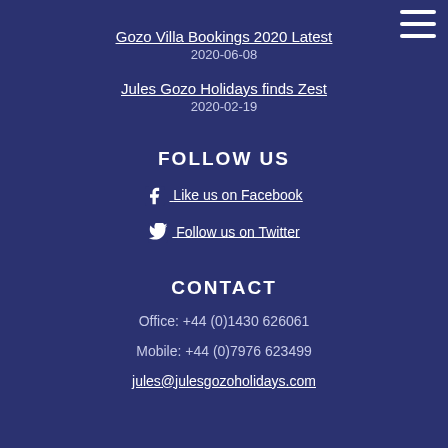Gozo Villa Bookings 2020 Latest
2020-06-08
Jules Gozo Holidays finds Zest
2020-02-19
FOLLOW US
Like us on Facebook
Follow us on Twitter
CONTACT
Office: +44 (0)1430 626061
Mobile: +44 (0)7976 623499
jules@julesgozoholidays.com